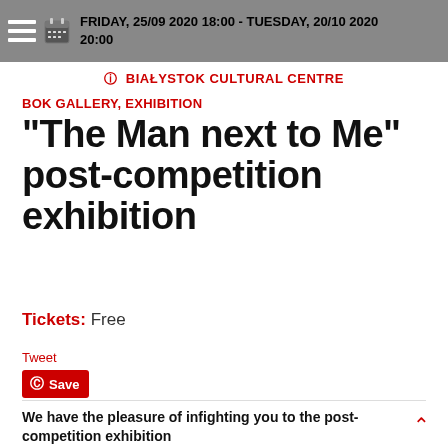FRIDAY, 25/09 2020 18:00 - TUESDAY, 20/10 2020 20:00
BIAŁYSTOK CULTURAL CENTRE
BOK GALLERY, EXHIBITION
“The Man next to Me” post-competition exhibition
Tickets: Free
Tweet
Save
We have the pleasure of infighting you to the post-competition exhibition